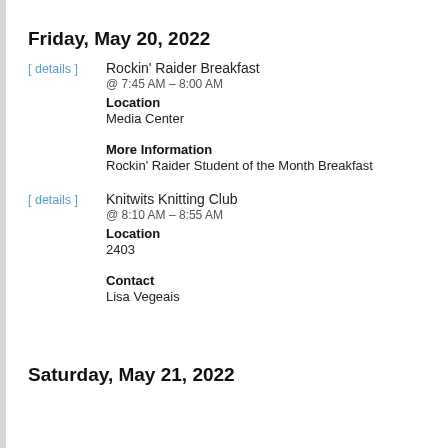Friday, May 20, 2022
[ details ]  Rockin' Raider Breakfast
@ 7:45 AM – 8:00 AM
Location
Media Center
More Information
Rockin' Raider Student of the Month Breakfast
[ details ]  Knitwits Knitting Club
@ 8:10 AM – 8:55 AM
Location
2403
Contact
Lisa Vegeais
Saturday, May 21, 2022